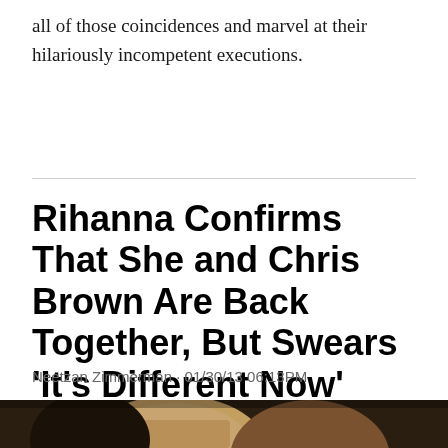all of those coincidences and marvel at their hilariously incompetent executions.
Rihanna Confirms That She and Chris Brown Are Back Together, But Swears 'It's Different Now'
Neetzan Zimmerman · 01/30/13 06:13PM
[Figure (photo): Photo of two people, a man and a woman, close together, cropped at bottom of page]